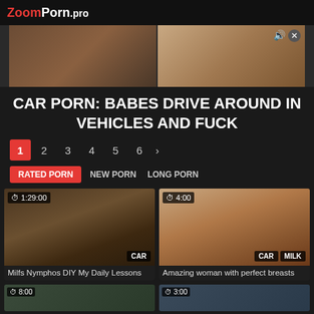ZoomPorn.pro
[Figure (photo): Banner images showing explicit adult content]
CAR PORN: BABES DRIVE AROUND IN VEHICLES AND FUCK
1 2 3 4 5 6 >
RATED PORN | NEW PORN | LONG PORN
[Figure (photo): Video thumbnail - Milfs Nymphos DIY My Daily Lessons, duration 1:29:00, tag CAR]
Milfs Nymphos DIY My Daily Lessons
[Figure (photo): Video thumbnail - Amazing woman with perfect breasts, duration 4:00, tags CAR MILK]
Amazing woman with perfect breasts
[Figure (photo): Video thumbnail bottom left, partially visible]
[Figure (photo): Video thumbnail bottom right, partially visible]